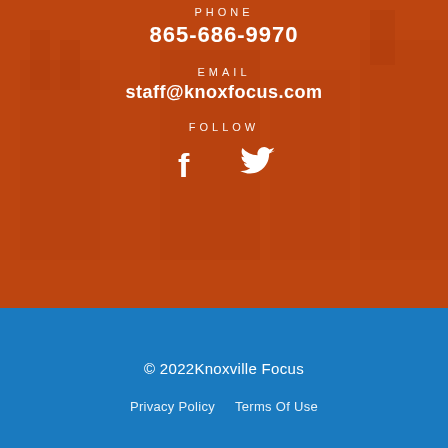PHONE
865-686-9970
EMAIL
staff@knoxfocus.com
FOLLOW
[Figure (illustration): Facebook and Twitter social media icons in white]
© 2022Knoxville Focus
Privacy Policy   Terms Of Use